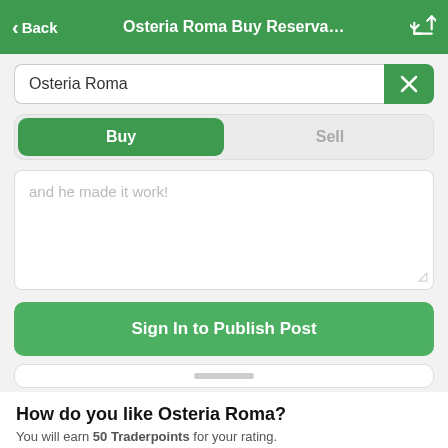< Back   Osteria Roma Buy Reserva...
Osteria Roma
Buy | Sell
and he made it work!
Sign In to Publish Post
How do you like Osteria Roma?
You will earn 50 Traderpoints for your rating.
[Figure (other): Rating emoji row with 5 options: two placeholder rectangles, a neutral face emoji, another placeholder rectangle, and a love-eyes smiley face (selected/highlighted)]